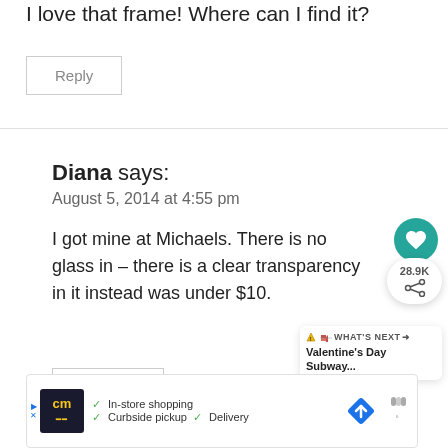I love that frame! Where can I find it?
Reply
Diana says:
August 5, 2014 at 4:55 pm
I got mine at Michaels. There is no glass in – there is a clear transparency in it instead was under $10.
Reply
[Figure (screenshot): WHAT'S NEXT arrow label with Valentine's Day Subway... text and small icons]
[Figure (screenshot): Advertisement bar showing cm logo, In-store shopping, Curbside pickup, Delivery options with road sign icon]